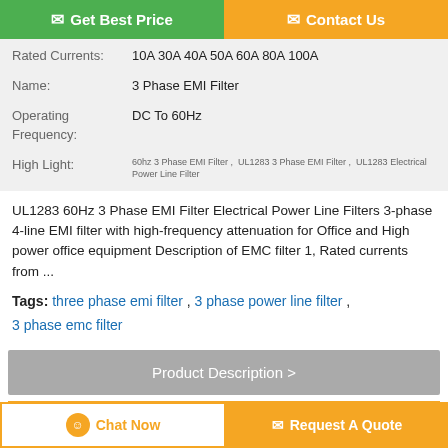[Figure (screenshot): Top navigation buttons: green 'Get Best Price' and orange 'Contact Us']
| Rated Currents: | 10A 30A 40A 50A 60A 80A 100A |
| Name: | 3 Phase EMI Filter |
| Operating Frequency: | DC To 60Hz |
| High Light: | 60hz 3 Phase EMI Filter, UL1283 3 Phase EMI Filter, UL1283 Electrical Power Line Filter |
UL1283 60Hz 3 Phase EMI Filter Electrical Power Line Filters 3-phase 4-line EMI filter with high-frequency attenuation for Office and High power office equipment Description of EMC filter 1, Rated currents from ...
Tags: three phase emi filter , 3 phase power line filter , 3 phase emc filter
Product Description >
Get the Best Price for
[Figure (screenshot): Bottom buttons: orange-bordered 'Chat Now' and orange 'Request A Quote']